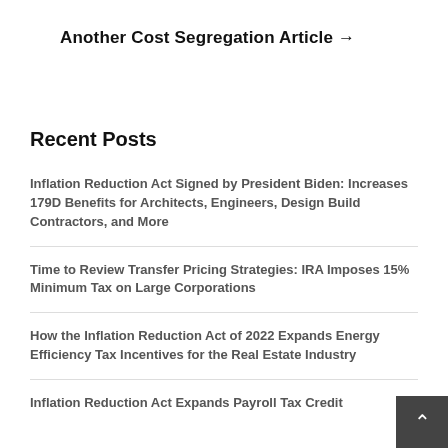Another Cost Segregation Article →
Recent Posts
Inflation Reduction Act Signed by President Biden: Increases 179D Benefits for Architects, Engineers, Design Build Contractors, and More
Time to Review Transfer Pricing Strategies: IRA Imposes 15% Minimum Tax on Large Corporations
How the Inflation Reduction Act of 2022 Expands Energy Efficiency Tax Incentives for the Real Estate Industry
Inflation Reduction Act Expands Payroll Tax Credit